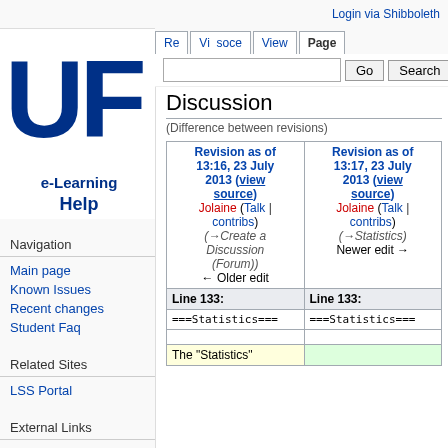Login via Shibboleth
[Figure (logo): University of Florida UF e-Learning Help logo]
Navigation
Main page
Known Issues
Recent changes
Student Faq
Related Sites
LSS Portal
External Links
Sakai Project Site
Discussion
(Difference between revisions)
| Revision as of 13:16, 23 July 2013 (view source) | Revision as of 13:17, 23 July 2013 (view source) |
| --- | --- |
| Jolaine (Talk | contribs) | Jolaine (Talk | contribs) |
| (→Create a Discussion (Forum)) | (→Statistics) |
| ← Older edit | Newer edit → |
| Line 133: | Line 133: |
| ===Statistics=== | ===Statistics=== |
|  |  |
| The "Statistics" |  |